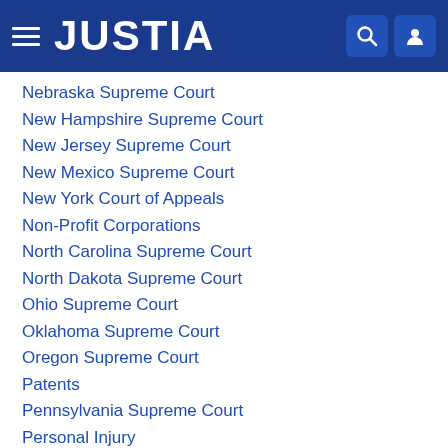JUSTIA
Nebraska Supreme Court
New Hampshire Supreme Court
New Jersey Supreme Court
New Mexico Supreme Court
New York Court of Appeals
Non-Profit Corporations
North Carolina Supreme Court
North Dakota Supreme Court
Ohio Supreme Court
Oklahoma Supreme Court
Oregon Supreme Court
Patents
Pennsylvania Supreme Court
Personal Injury
Personal Injury
Professional Malpractice & Ethics
Public Benefits
Real Estate & Property Law
Real Estate Law